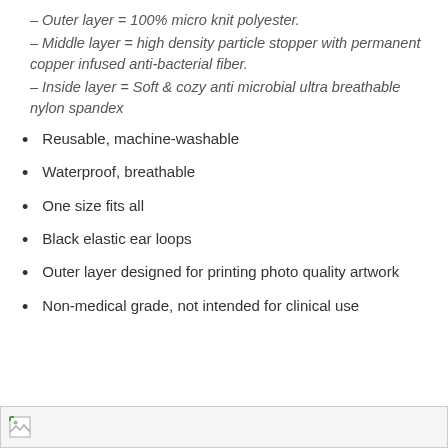– Outer layer = 100% micro knit polyester.
– Middle layer = high density particle stopper with permanent copper infused anti-bacterial fiber.
– Inside layer = Soft & cozy anti microbial ultra breathable nylon spandex
Reusable, machine-washable
Waterproof, breathable
One size fits all
Black elastic ear loops
Outer layer designed for printing photo quality artwork
Non-medical grade, not intended for clinical use
[Figure (photo): Broken/missing image placeholder at the bottom of the page]